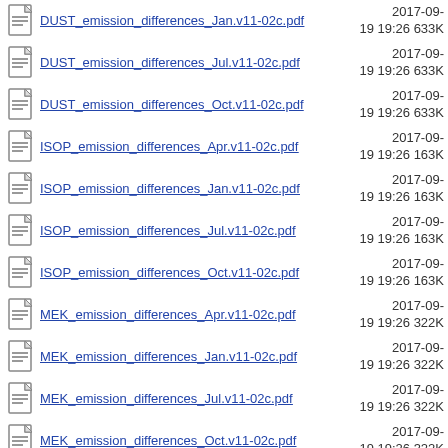DUST_emission_differences_Jan.v11-02c.pdf  2017-09-19 19:26  633K
DUST_emission_differences_Jul.v11-02c.pdf  2017-09-19 19:26  633K
DUST_emission_differences_Oct.v11-02c.pdf  2017-09-19 19:26  633K
ISOP_emission_differences_Apr.v11-02c.pdf  2017-09-19 19:26  163K
ISOP_emission_differences_Jan.v11-02c.pdf  2017-09-19 19:26  163K
ISOP_emission_differences_Jul.v11-02c.pdf  2017-09-19 19:26  163K
ISOP_emission_differences_Oct.v11-02c.pdf  2017-09-19 19:26  163K
MEK_emission_differences_Apr.v11-02c.pdf  2017-09-19 19:26  322K
MEK_emission_differences_Jan.v11-02c.pdf  2017-09-19 19:26  322K
MEK_emission_differences_Jul.v11-02c.pdf  2017-09-19 19:26  322K
MEK_emission_differences_Oct.v11-02c.pdf  2017-09-19 19:26  322K
NH3_emission_differences_Apr.v11-  2017-09-  639K